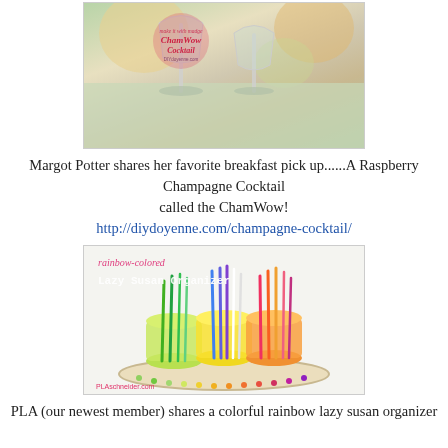[Figure (photo): Photo of wine glasses with ChamWow Cocktail branding on a table outdoors]
Margot Potter shares her favorite breakfast pick up......A Raspberry Champagne Cocktail called the ChamWow!
http://diydoyenne.com/champagne-cocktail/
[Figure (photo): Photo of rainbow-colored Lazy Susan organizer with colorful pens and pencils in cups, PLAschneider.com]
PLA (our newest member) shares a colorful rainbow lazy susan organizer